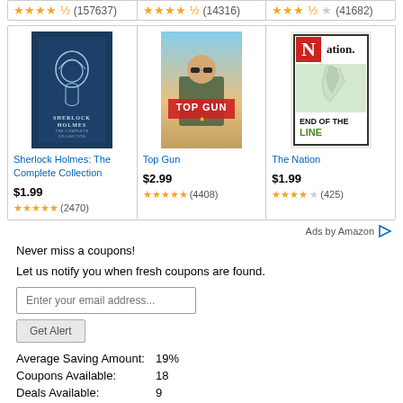[Figure (other): Top row of three Amazon product ads showing star ratings: 4.5 stars (157637), 4.5 stars (14316), 3.5 stars (41682)]
[Figure (other): Three Amazon product cards: Sherlock Holmes Complete Collection $1.99 5 stars (2470), Top Gun $2.99 5 stars (4408), The Nation $1.99 4 stars (425)]
Ads by Amazon
Never miss a coupons!
Let us notify you when fresh coupons are found.
| Average Saving Amount: | 19% |
| Coupons Available: | 18 |
| Deals Available: | 9 |